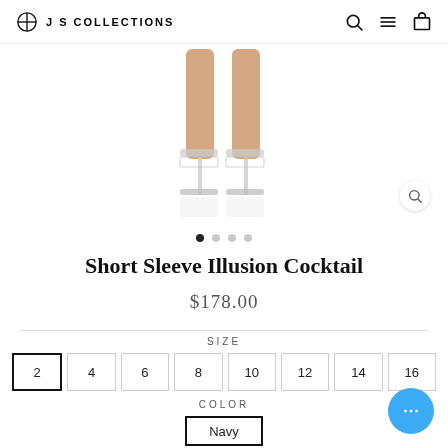JS COLLECTIONS
[Figure (photo): Close-up photo of a person's legs and feet wearing clear/transparent high-heel sandals against a white background]
Short Sleeve Illusion Cocktail
$178.00
SIZE
2  4  6  8  10  12  14  16
COLOR
Navy